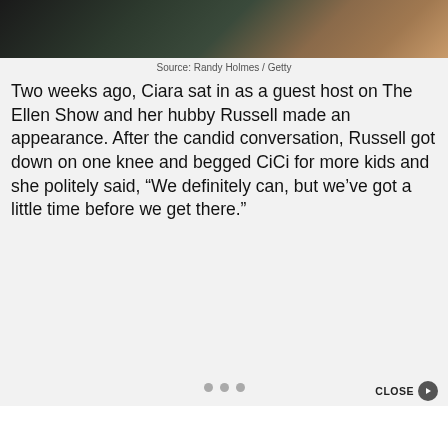[Figure (photo): Partial photo showing people, one wearing a dark green outfit and another with bracelets, near a wooden surface. Only the bottom portion of the photo is visible.]
Source: Randy Holmes / Getty
Two weeks ago, Ciara sat in as a guest host on The Ellen Show and her hubby Russell made an appearance. After the candid conversation, Russell got down on one knee and begged CiCi for more kids and she politely said, “We definitely can, but we’ve got a little time before we get there.”